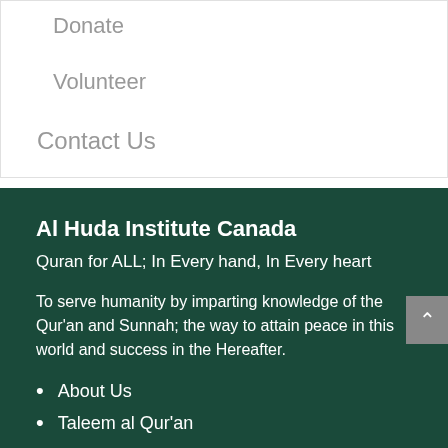Donate
Volunteer
Contact Us
Al Huda Institute Canada
Quran for ALL; In Every hand, In Every heart
To serve humanity by imparting knowledge of the Qur'an and Sunnah; the way to attain peace in this world and success in the Hereafter.
About Us
Taleem al Qur'an